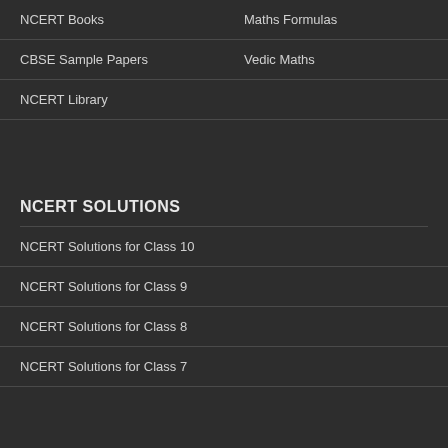NCERT Books
Maths Formulas
CBSE Sample Papers
Vedic Maths
NCERT Library
NCERT SOLUTIONS
NCERT Solutions for Class 10
NCERT Solutions for Class 9
NCERT Solutions for Class 8
NCERT Solutions for Class 7